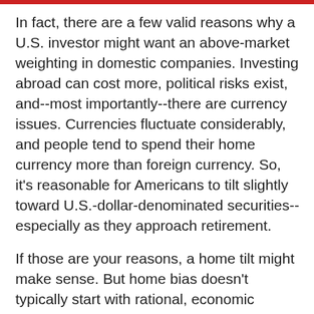In fact, there are a few valid reasons why a U.S. investor might want an above-market weighting in domestic companies. Investing abroad can cost more, political risks exist, and--most importantly--there are currency issues. Currencies fluctuate considerably, and people tend to spend their home currency more than foreign currency. So, it's reasonable for Americans to tilt slightly toward U.S.-dollar-denominated securities--especially as they approach retirement.
If those are your reasons, a home tilt might make sense. But home bias doesn't typically start with rational, economic explanations. More often it comes from national pride and investors' desire to "invest in what they know." Patriotism and familiarity are fine, but they're not a strong foundation for investing success. Diversification, on the